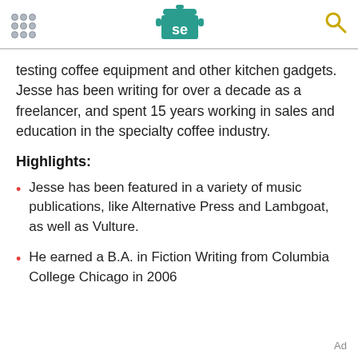[dots grid] [SE logo] [search icon]
testing coffee equipment and other kitchen gadgets. Jesse has been writing for over a decade as a freelancer, and spent 15 years working in sales and education in the specialty coffee industry.
Highlights:
Jesse has been featured in a variety of music publications, like Alternative Press and Lambgoat, as well as Vulture.
He earned a B.A. in Fiction Writing from Columbia College Chicago in 2006